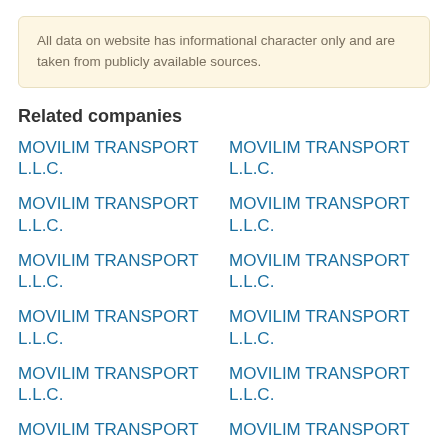All data on website has informational character only and are taken from publicly available sources.
Related companies
MOVILIM TRANSPORT L.L.C.
MOVILIM TRANSPORT L.L.C.
MOVILIM TRANSPORT L.L.C.
MOVILIM TRANSPORT L.L.C.
MOVILIM TRANSPORT L.L.C.
MOVILIM TRANSPORT L.L.C.
MOVILIM TRANSPORT L.L.C.
MOVILIM TRANSPORT L.L.C.
MOVILIM TRANSPORT L.L.C.
MOVILIM TRANSPORT L.L.C.
MOVILIM TRANSPORT
MOVILIM TRANSPORT